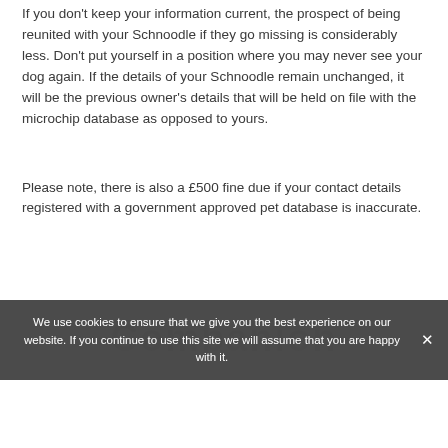If you don't keep your information current, the prospect of being reunited with your Schnoodle if they go missing is considerably less. Don't put yourself in a position where you may never see your dog again. If the details of your Schnoodle remain unchanged, it will be the previous owner's details that will be held on file with the microchip database as opposed to yours.
Please note, there is also a £500 fine due if your contact details registered with a government approved pet database is inaccurate.
We use cookies to ensure that we give you the best experience on our website. If you continue to use this site we will assume that you are happy with it.